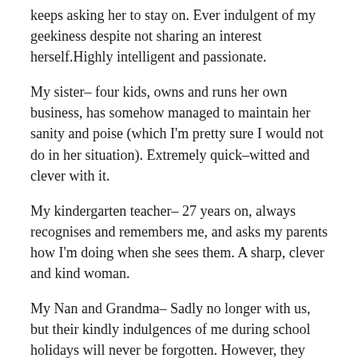keeps asking her to stay on. Ever indulgent of my geekiness despite not sharing an interest herself.Highly intelligent and passionate.
My sister– four kids, owns and runs her own business, has somehow managed to maintain her sanity and poise (which I'm pretty sure I would not do in her situation). Extremely quick–witted and clever with it.
My kindergarten teacher– 27 years on, always recognises and remembers me, and asks my parents how I'm doing when she sees them. A sharp, clever and kind woman.
My Nan and Grandma– Sadly no longer with us, but their kindly indulgences of me during school holidays will never be forgotten. However, they didn't spoil me to the point of indolence– I remember my Grandma taking me to the zoo when I was very young, and we had hotdogs for lunch. An ibis swooped down and stole